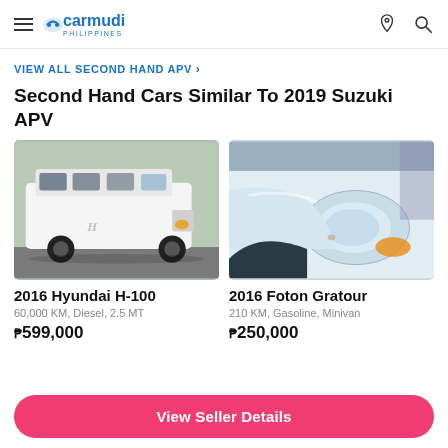carmudi PHILIPPINES
VIEW ALL SECOND HAND APV >
Second Hand Cars Similar To 2019 Suzuki APV
[Figure (photo): Photo of a white 2016 Hyundai H-100 van parked outdoors]
2016 Hyundai H-100
60,000 KM, Diesel, 2.5 MT
₱599,000
[Figure (photo): Close-up photo of front corner of a light blue/white 2016 Foton Gratour]
2016 Foton Gratour
210 KM, Gasoline, Minivan
₱250,000
View Seller Details